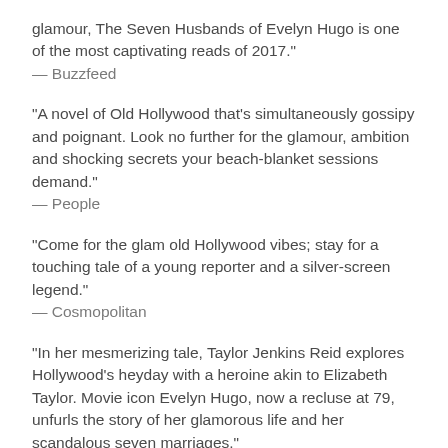glamour, The Seven Husbands of Evelyn Hugo is one of the most captivating reads of 2017."
— Buzzfeed
"A novel of Old Hollywood that's simultaneously gossipy and poignant. Look no further for the glamour, ambition and shocking secrets your beach-blanket sessions demand."
— People
"Come for the glam old Hollywood vibes; stay for a touching tale of a young reporter and a silver-screen legend."
— Cosmopolitan
"In her mesmerizing tale, Taylor Jenkins Reid explores Hollywood's heyday with a heroine akin to Elizabeth Taylor. Movie icon Evelyn Hugo, now a recluse at 79, unfurls the story of her glamorous life and her scandalous seven marriages."
— Us Weekly
"The epic adventures Evelyn creates over the course of a